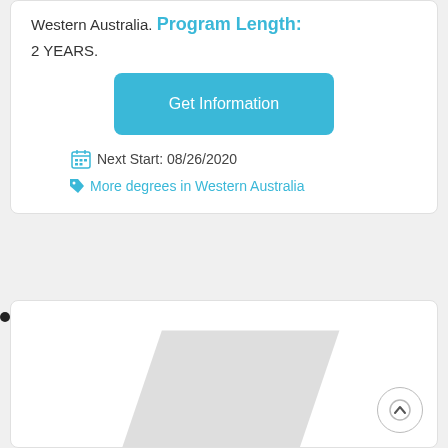Western Australia. Program Length: 2 YEARS.
Get Information
Next Start: 08/26/2020
More degrees in Western Australia
[Figure (illustration): Partially visible card with a diagonal grey band/shape, and a circular scroll-to-top button with an upward chevron in the bottom right.]